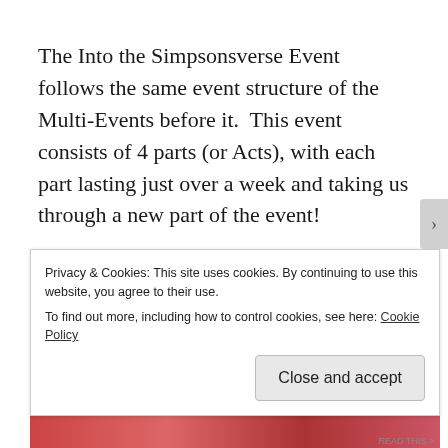The Into the Simpsonsverse Event follows the same event structure of the Multi-Events before it.  This event consists of 4 parts (or Acts), with each part lasting just over a week and taking us through a new part of the event!
For Act 4 we're tasked with collecting Gravitons!  Each part of the story will unlock another prize themed for the final part of the story.  So let's take a look at the
Privacy & Cookies: This site uses cookies. By continuing to use this website, you agree to their use.
To find out more, including how to control cookies, see here: Cookie Policy
Close and accept